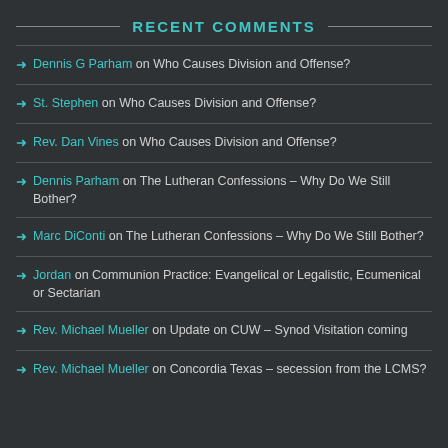RECENT COMMENTS
Dennis G Parham on Who Causes Division and Offense?
St. Stephen on Who Causes Division and Offense?
Rev. Dan Vines on Who Causes Division and Offense?
Dennis Parham on The Lutheran Confessions – Why Do We Still Bother?
Marc DiConti on The Lutheran Confessions – Why Do We Still Bother?
Jordan on Communion Practice: Evangelical or Legalistic, Ecumenical or Sectarian
Rev. Michael Mueller on Update on CUW – Synod Visitation coming
Rev. Michael Mueller on Concordia Texas – secession from the LCMS?